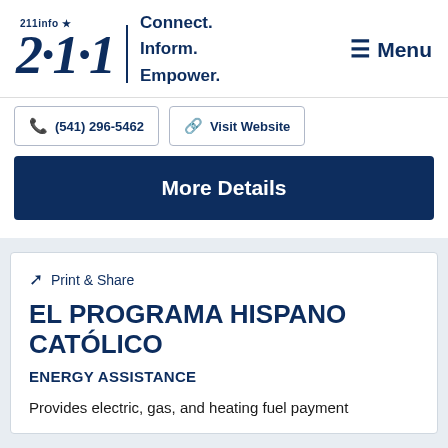[Figure (logo): 211info logo with star and tagline Connect. Inform. Empower.]
(541) 296-5462
Visit Website
More Details
Print & Share
EL PROGRAMA HISPANO CATÓLICO
ENERGY ASSISTANCE
Provides electric, gas, and heating fuel payment